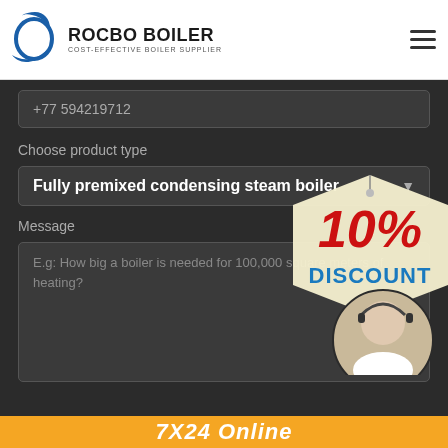ROCBO BOILER — COST-EFFECTIVE BOILER SUPPLIER
+77 594219712
Choose product type
Fully premixed condensing steam boiler
Message
E.g: How big a boiler is needed for 100,000 square meters of heating?
[Figure (infographic): 10% DISCOUNT badge with a customer service representative photo and a circular portrait of a smiling woman wearing a headset]
7X24 Online